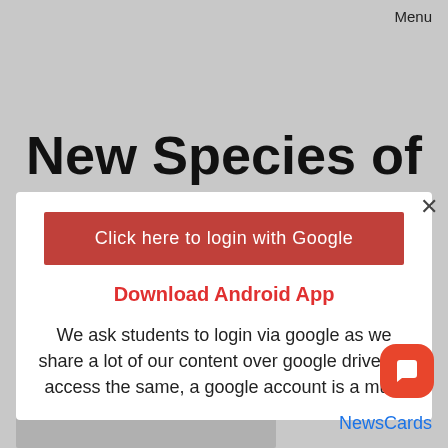Menu
New Species of
[Figure (screenshot): Modal popup overlay on a webpage with a Google login button, Android App download link, and explanatory text about Google account requirement]
Click here to login with Google
Download Android App
We ask students to login via google as we share a lot of our content over google drive. To access the same, a google account is a must
November 20, 2017   The Hindu
NewsCards